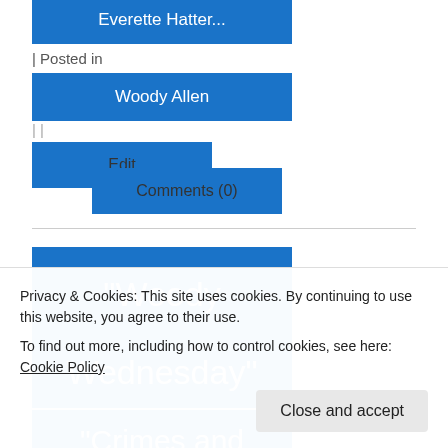Everette Hatter...
| Posted in
Woody Allen
| |
Edit
Comments (0)
"Woody Wednesday"
"Crimes and
Privacy & Cookies: This site uses cookies. By continuing to use this website, you agree to their use.
To find out more, including how to control cookies, see here: Cookie Policy
Close and accept